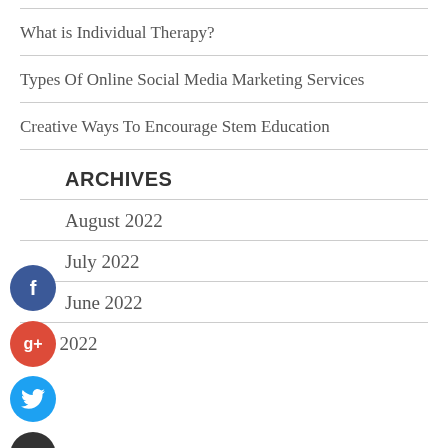What is Individual Therapy?
Types Of Online Social Media Marketing Services
Creative Ways To Encourage Stem Education
ARCHIVES
August 2022
July 2022
June 2022
May 2022